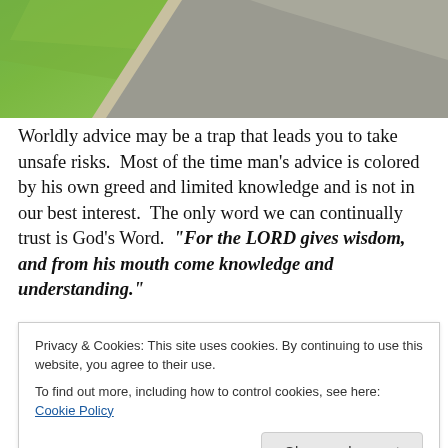[Figure (photo): Aerial/close-up view of a road or path with green grass on the side, gray asphalt surface visible]
Worldly advice may be a trap that leads you to take unsafe risks. Most of the time man's advice is colored by his own greed and limited knowledge and is not in our best interest. The only word we can continually trust is God's Word. “For the LORD gives wisdom, and from his mouth come knowledge and understanding.”
Privacy & Cookies: This site uses cookies. By continuing to use this website, you agree to their use.
To find out more, including how to control cookies, see here: Cookie Policy
Close and accept
people became so pride filled